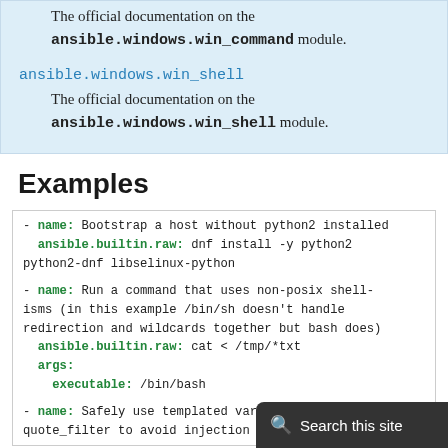The official documentation on the ansible.windows.win_command module.
ansible.windows.win_shell
The official documentation on the ansible.windows.win_shell module.
Examples
- name: Bootstrap a host without python2 installed
  ansible.builtin.raw: dnf install -y python2 python2-dnf libselinux-python

- name: Run a command that uses non-posix shell-isms (in this example /bin/sh doesn't handle redirection and wildcards together but bash does)
  ansible.builtin.raw: cat < /tmp/*txt
  args:
    executable: /bin/bash

- name: Safely use templated varia...
  quote_filter to avoid injection issues...